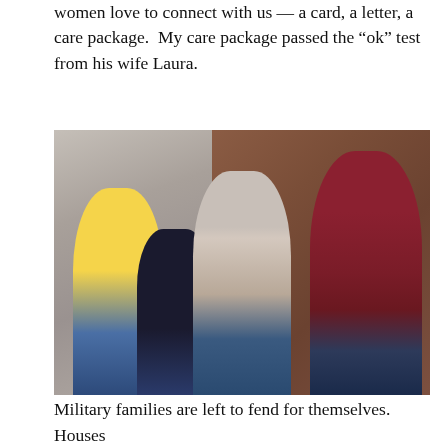women love to connect with us — a card, a letter, a care package.  My care package passed the “ok” test from his wife Laura.
[Figure (photo): Family photo of four people — two young boys and a couple (woman with scarf and man in red fleece) — posed against a stone and brick wall background.]
Military families are left to fend for themselves.  Houses